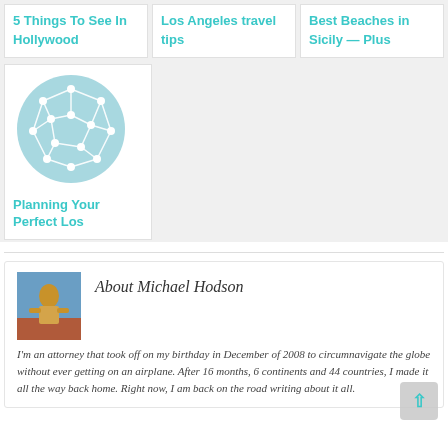5 Things To See In Hollywood
Los Angeles travel tips
Best Beaches in Sicily — Plus
[Figure (illustration): A circular network/graph icon with white nodes and connecting lines on a light blue circular background]
Planning Your Perfect Los
About Michael Hodson
[Figure (photo): A photo of Michael Hodson standing outdoors in a yellow shirt against a blue sky background]
I'm an attorney that took off on my birthday in December of 2008 to circumnavigate the globe without ever getting on an airplane. After 16 months, 6 continents and 44 countries, I made it all the way back home. Right now, I am back on the road writing about it all.